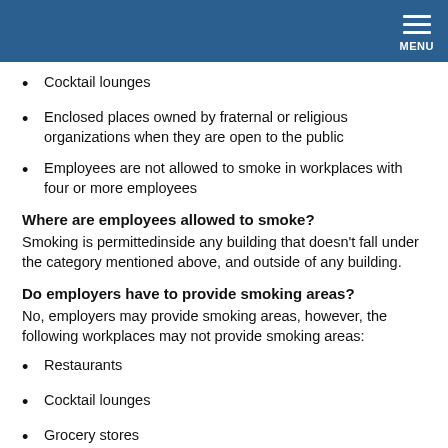MENU
Cocktail lounges
Enclosed places owned by fraternal or religious organizations when they are open to the public
Employees are not allowed to smoke in workplaces with four or more employees
Where are employees allowed to smoke?
Smoking is permittedinside any building that doesn't fall under the category mentioned above, and outside of any building.
Do employers have to provide smoking areas?
No, employers may provide smoking areas, however, the following workplaces may not provide smoking areas:
Restaurants
Cocktail lounges
Grocery stores
What are the requirements for smoking areas?
The following requirements apply to designated smoking areas in any workplace:
Segregated from the rest of the workplace